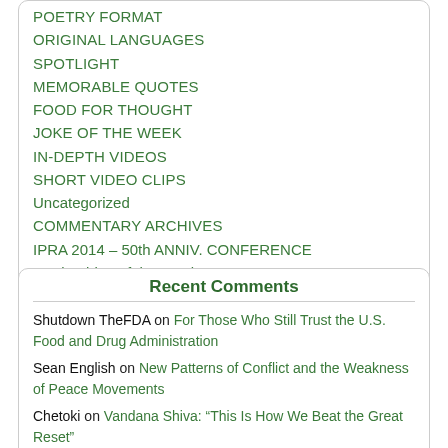POETRY FORMAT
ORIGINAL LANGUAGES
SPOTLIGHT
MEMORABLE QUOTES
FOOD FOR THOUGHT
JOKE OF THE WEEK
IN-DEPTH VIDEOS
SHORT VIDEO CLIPS
Uncategorized
COMMENTARY ARCHIVES
IPRA 2014 – 50th ANNIV. CONFERENCE
Music Video of the Week
Recent Comments
Shutdown TheFDA on For Those Who Still Trust the U.S. Food and Drug Administration
Sean English on New Patterns of Conflict and the Weakness of Peace Movements
Chetoki on Vandana Shiva: “This Is How We Beat the Great Reset”
Carol L Brouillet on How Do You Know What You Think You Know? The Value of Dissident Voices